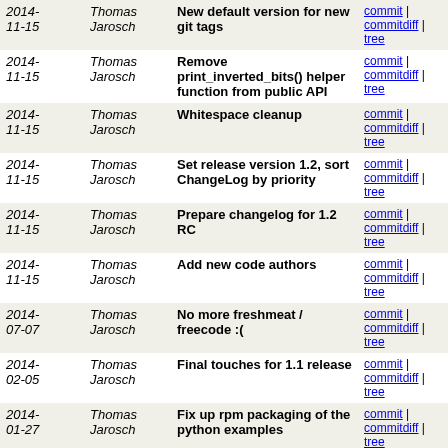| Date | Author | Message | Links |
| --- | --- | --- | --- |
| 2014-11-15 | Thomas Jarosch | New default version for new git tags | commit | commitdiff | tree |
| 2014-11-15 | Thomas Jarosch | Remove print_inverted_bits() helper function from public API | commit | commitdiff | tree |
| 2014-11-15 | Thomas Jarosch | Whitespace cleanup | commit | commitdiff | tree |
| 2014-11-15 | Thomas Jarosch | Set release version 1.2, sort ChangeLog by priority | commit | commitdiff | tree |
| 2014-11-15 | Thomas Jarosch | Prepare changelog for 1.2 RC | commit | commitdiff | tree |
| 2014-11-15 | Thomas Jarosch | Add new code authors | commit | commitdiff | tree |
| 2014-07-07 | Thomas Jarosch | No more freshmeat / freecode :( | commit | commitdiff | tree |
| 2014-02-05 | Thomas Jarosch | Final touches for 1.1 release | commit | commitdiff | tree |
| 2014-01-27 | Thomas Jarosch | Fix up rpm packaging of the python examples | commit | commitdiff | tree |
| 2014-01-23 | Thomas Jarosch | Increase version to 1.1 and copy over changelog to... | commit | commitdiff | tree |
| 2014-01-23 | Thomas Jarosch | Increase copyright year to 2014 | commit | commitdiff | tree |
| 2014-01-23 | Thomas Jarosch | Update ChangeLog according to git history | commit | commitdiff | tree |
| 2014-01-23 | Thomas Jarosch | Update AUTHORS according to git history | commit | commitdiff | tree |